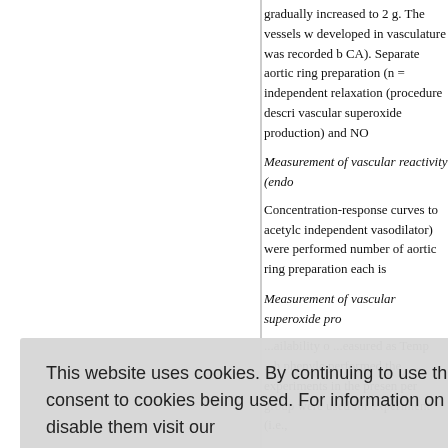gradually increased to 2 g. The vessels w developed in vasculature was recorded b CA). Separate aortic ring preparation (n = independent relaxation (procedure descri vascular superoxide production) and NO
Measurement of vascular reactivity (endo
Concentration-response curves to acetylc independent vasodilator) were performed number of aortic ring preparation each is
Measurement of vascular superoxide pro
...ailability o ...easured as Temp ...h phenyle performed the experiments in the presen per group were used for experiment (i.e.,
Measurement of vascular NO bioavailabi
nitric oxide bioavailability was mea contraction of isolated rat aorta after subl
[24] To prevent synthesis of prostaglandin
This website uses cookies. By continuing to use this website you are giving consent to cookies being used. For information on cookies and how you can disable them visit our Privacy and Cookie Policy. AGREE & PROCEED